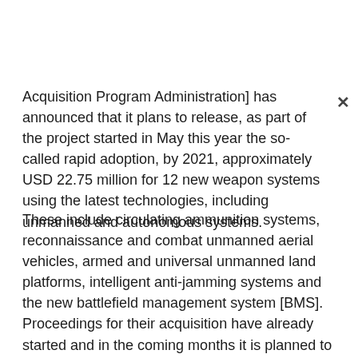Acquisition Program Administration] has announced that it plans to release, as part of the project started in May this year the so-called rapid adoption, by 2021, approximately USD 22.75 million for 12 new weapon systems using the latest technologies, including unmanned and autonomous systems.
These include circulating ammunition systems, reconnaissance and combat unmanned aerial vehicles, armed and universal unmanned land platforms, intelligent anti-jamming systems and the new battlefield management system [BMS]. Proceedings for their acquisition have already started and in the coming months it is planned to select specific solutions and suppliers who will deliver these systems to the South Korean army in the middle of next year. In the first stage of the program, DAPA was to purchase the first four advanced weapon systems. Among them, there are two models of unmanned aerial vehicles, small unmanned reconnaissance aircraft and portable anti-drone